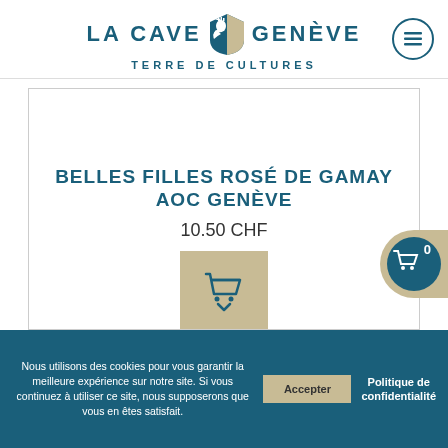[Figure (logo): La Cave Genève logo with eagle/lion emblem and tagline TERRE DE CULTURES]
BELLES FILLES ROSÉ DE GAMAY AOC GENÈVE
10.50 CHF
[Figure (illustration): Shopping cart icon on beige square button]
Nous utilisons des cookies pour vous garantir la meilleure expérience sur notre site. Si vous continuez à utiliser ce site, nous supposerons que vous en êtes satisfait.
Accepter
Politique de confidentialité